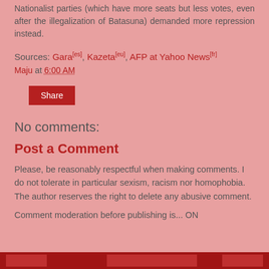Nationalist parties (which have more seats but less votes, even after the illegalization of Batasuna) demanded more repression instead.
Sources: Gara[es], Kazeta[eu], AFP at Yahoo News[fr]
Maju at 6:00 AM
Share
No comments:
Post a Comment
Please, be reasonably respectful when making comments. I do not tolerate in particular sexism, racism nor homophobia. The author reserves the right to delete any abusive comment.
Comment moderation before publishing is... ON